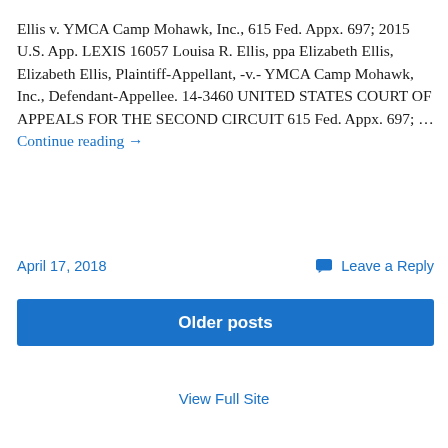Ellis v. YMCA Camp Mohawk, Inc., 615 Fed. Appx. 697; 2015 U.S. App. LEXIS 16057 Louisa R. Ellis, ppa Elizabeth Ellis, Elizabeth Ellis, Plaintiff-Appellant, -v.- YMCA Camp Mohawk, Inc., Defendant-Appellee. 14-3460 UNITED STATES COURT OF APPEALS FOR THE SECOND CIRCUIT 615 Fed. Appx. 697; … Continue reading →
April 17, 2018
Leave a Reply
Older posts
View Full Site